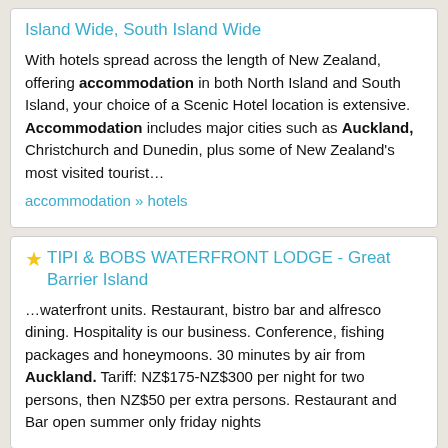Island Wide, South Island Wide
With hotels spread across the length of New Zealand, offering accommodation in both North Island and South Island, your choice of a Scenic Hotel location is extensive. Accommodation includes major cities such as Auckland, Christchurch and Dunedin, plus some of New Zealand's most visited tourist…
accommodation » hotels
TIPI & BOBS WATERFRONT LODGE - Great Barrier Island
…waterfront units. Restaurant, bistro bar and alfresco dining. Hospitality is our business. Conference, fishing packages and honeymoons. 30 minutes by air from Auckland. Tariff: NZ$175-NZ$300 per night for two persons, then NZ$50 per extra persons. Restaurant and Bar open summer only friday nights